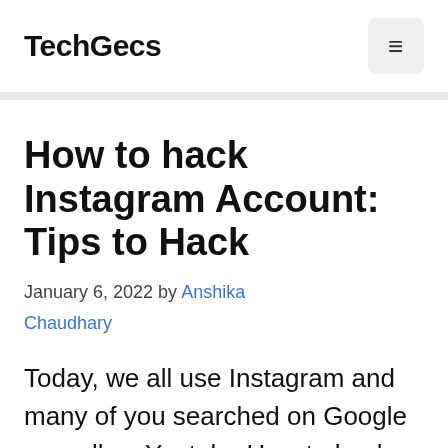TechGecs
How to hack Instagram Account: Tips to Hack
January 6, 2022 by Anshika Chaudhary
Today, we all use Instagram and many of you searched on Google as well as Youtube How to hack